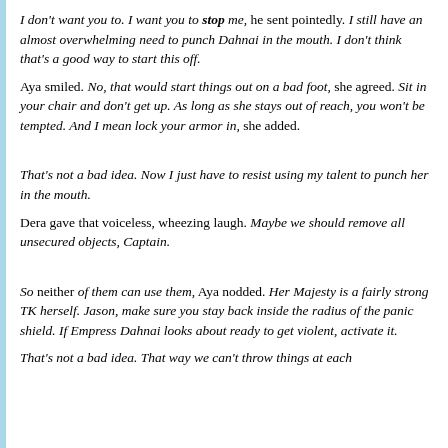I don't want you to. I want you to stop me, he sent pointedly. I still have an almost overwhelming need to punch Dahnai in the mouth. I don't think that's a good way to start this off.
Aya smiled. No, that would start things out on a bad foot, she agreed. Sit in your chair and don't get up. As long as she stays out of reach, you won't be tempted. And I mean lock your armor in, she added.
That's not a bad idea. Now I just have to resist using my talent to punch her in the mouth.
Dera gave that voiceless, wheezing laugh. Maybe we should remove all unsecured objects, Captain.
So neither of them can use them, Aya nodded. Her Majesty is a fairly strong TK herself. Jason, make sure you stay back inside the radius of the panic shield. If Empress Dahnai looks about ready to get violent, activate it.
That's not a bad idea. That way we can't throw things at each